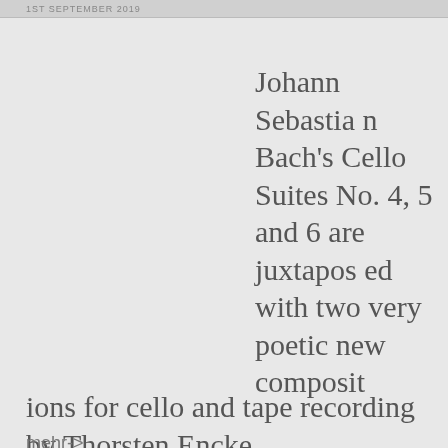1ST SEPTEMBER 2019
Johann Sebastian Bach's Cello Suites No. 4, 5 and 6 are juxtaposed with two very poetic new compositions for cello and tape recording by Thorsten Encke.
mehr->